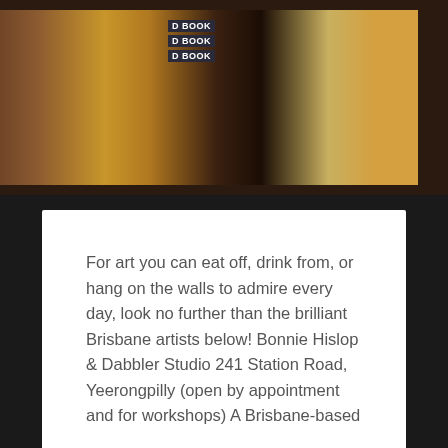[Figure (photo): Partial view of a styled shelf scene with a gold/tan ceramic cup, stacked dark books labeled 'D BOOK', and a golden decorative bird/duck figurine on a warm wooden surface]
For art you can eat off, drink from, or hang on the walls to admire every day, look no further than the brilliant Brisbane artists below! Bonnie Hislop & Dabbler Studio 241 Station Road, Yeerongpilly (open by appointment and for workshops) A Brisbane-based creative with a focus on ceramics, Bonnie creates functional works of art...
Continue Reading →
0